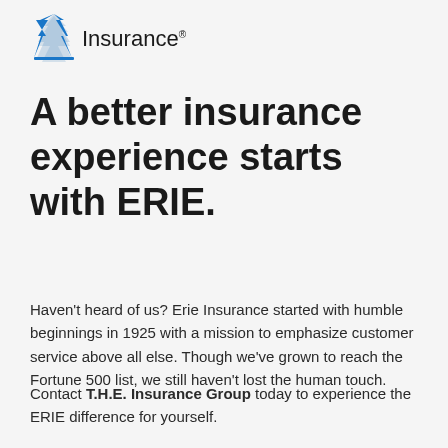[Figure (logo): Erie Insurance logo with blue flame/figure icon and 'Insurance' text with registered trademark symbol]
A better insurance experience starts with ERIE.
Haven’t heard of us? Erie Insurance started with humble beginnings in 1925 with a mission to emphasize customer service above all else. Though we’ve grown to reach the Fortune 500 list, we still haven’t lost the human touch.
Contact T.H.E. Insurance Group today to experience the ERIE difference for yourself.